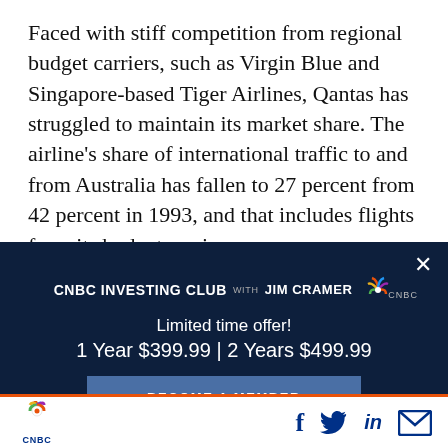Faced with stiff competition from regional budget carriers, such as Virgin Blue and Singapore-based Tiger Airlines, Qantas has struggled to maintain its market share. The airline's share of international traffic to and from Australia has fallen to 27 percent from 42 percent in 1993, and that includes flights from its budget carrier
[Figure (other): CNBC Investing Club with Jim Cramer advertisement overlay. Limited time offer! 1 Year $399.99 | 2 Years $499.99. Become a Member button. Close (X) button.]
CNBC logo with social media icons: Facebook, Twitter, LinkedIn, Email